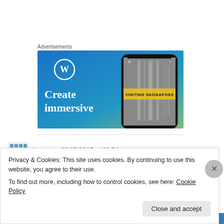Advertisements
[Figure (screenshot): WordPress advertisement banner with blue gradient background, WordPress logo (W in circle), text 'Create immersive' in white, and a smartphone showing 'VISITING SKÓGAFOSS' waterfall photo]
betsy on 03/05/2015 at 02:54
Privacy & Cookies: This site uses cookies. By continuing to use this website, you agree to their use.
To find out more, including how to control cookies, see here: Cookie Policy
Close and accept